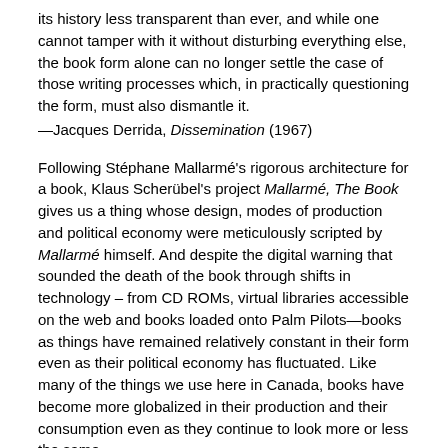its history less transparent than ever, and while one cannot tamper with it without disturbing everything else, the book form alone can no longer settle the case of those writing processes which, in practically questioning the form, must also dismantle it.
—Jacques Derrida, Dissemination (1967)
Following Stéphane Mallarmé's rigorous architecture for a book, Klaus Scherübel's project Mallarmé, The Book gives us a thing whose design, modes of production and political economy were meticulously scripted by Mallarmé himself. And despite the digital warning that sounded the death of the book through shifts in technology – from CD ROMs, virtual libraries accessible on the web and books loaded onto Palm Pilots—books as things have remained relatively constant in their form even as their political economy has fluctuated. Like many of the things we use here in Canada, books have become more globalized in their production and their consumption even as they continue to look more or less the same.